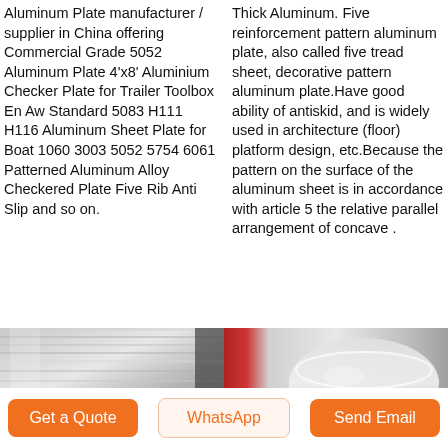Aluminum Plate manufacturer / supplier in China offering Commercial Grade 5052 Aluminum Plate 4'x8' Aluminium Checker Plate for Trailer Toolbox En Aw Standard 5083 H111 H116 Aluminum Sheet Plate for Boat 1060 3003 5052 5754 6061 Patterned Aluminum Alloy Checkered Plate Five Rib Anti Slip and so on.
Thick Aluminum. Five reinforcement pattern aluminum plate, also called five tread sheet, decorative pattern aluminum plate.Have good ability of antiskid, and is widely used in architecture (floor) platform design, etc.Because the pattern on the surface of the aluminum sheet is in accordance with article 5 the relative parallel arrangement of concave .
[Figure (photo): Photo of aluminum plate/coil product, showing silvery metallic surface]
[Figure (photo): Photo of aluminum plate product, showing polished metallic bowl/dish surface]
Get a Quote
WhatsApp
Send Email